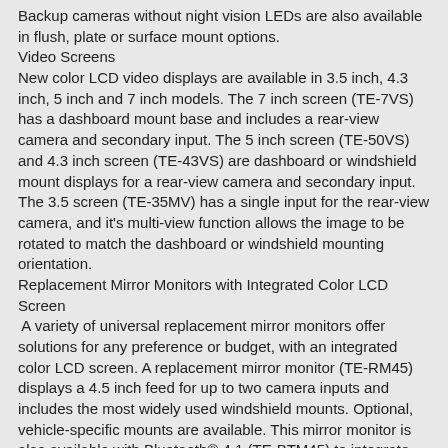Backup cameras without night vision LEDs are also available in flush, plate or surface mount options.
Video Screens
New color LCD video displays are available in 3.5 inch, 4.3 inch, 5 inch and 7 inch models. The 7 inch screen (TE-7VS) has a dashboard mount base and includes a rear-view camera and secondary input. The 5 inch screen (TE-50VS) and 4.3 inch screen (TE-43VS) are dashboard or windshield mount displays for a rear-view camera and secondary input. The 3.5 screen (TE-35MV) has a single input for the rear-view camera, and it's multi-view function allows the image to be rotated to match the dashboard or windshield mounting orientation.
Replacement Mirror Monitors with Integrated Color LCD Screen
A variety of universal replacement mirror monitors offer solutions for any preference or budget, with an integrated color LCD screen. A replacement mirror monitor (TE-RM45) displays a 4.5 inch feed for up to two camera inputs and includes the most widely used windshield mounts. Optional, vehicle-specific mounts are available. This mirror monitor is also available with Bluetooth® 4.1 (TE-BTM45) to integrate for hands free calling, voice dialing and displaying the incoming phone number. This model also streams audio for navigation prompts. The replacement mirror monitor also includes an option for temperature and compass display (TE-CTM45), to show the vehicle's direction and interior and outside temperatures integrated into the top right mirror monitor.
A cost effective clip-on mirror monitor solution (TE-CM43) clips over an existing mirror and displays a 4.3 inch feed of the rear-view camera when the vehicle is in reverse. It allows for easy, universal installation.